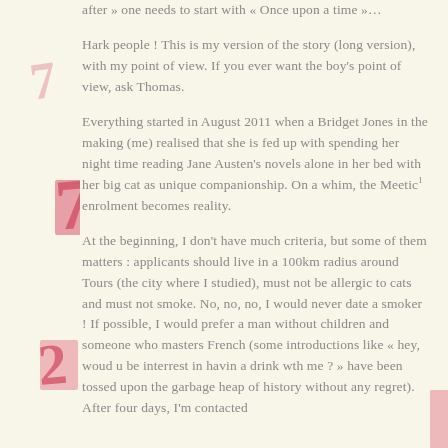after » one needs to start with « Once upon a time »…
Hark people ! This is my version of the story (long version), with my point of view. If you ever want the boy's point of view, ask Thomas.
Everything started in August 2011 when a Bridget Jones in the making (me) realised that she is fed up with spending her night time reading Jane Austen's novels alone in her bed with her big cat as unique companionship. On a whim, the Meetic¹ enrolment becomes reality.
At the beginning, I don't have much criteria, but some of them matters : applicants should live in a 100km radius around Tours (the city where I studied), must not be allergic to cats and must not smoke. No, no, no, I would never date a smoker ! If possible, I would prefer a man without children and someone who masters French (some introductions like « hey, woud u be interrest in havin a drink wth me ? » have been tossed upon the garbage heap of history without any regret). After four days, I'm contacted